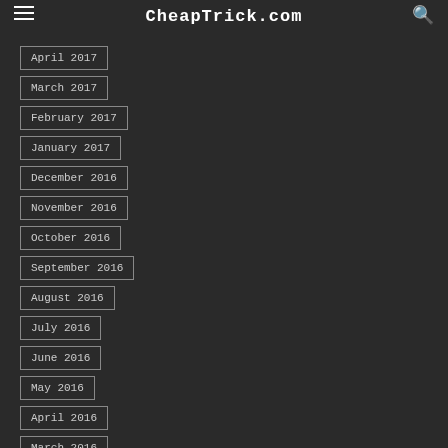CheapTrick.com
April 2017
March 2017
February 2017
January 2017
December 2016
November 2016
October 2016
September 2016
August 2016
July 2016
June 2016
May 2016
April 2016
March 2016